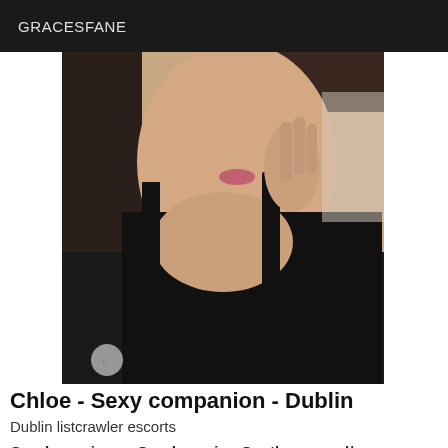GRACESFANE
[Figure (photo): Close-up photo of a young woman in a black top, holding her hand near her chin, taken as a selfie-style shot.]
Chloe - Sexy companion - Dublin
Dublin listcrawler escorts
Good morning or Good evening Gentlemen and/or